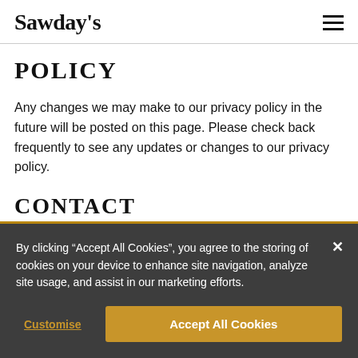Sawday's
POLICY
Any changes we may make to our privacy policy in the future will be posted on this page. Please check back frequently to see any updates or changes to our privacy policy.
CONTACT
By clicking “Accept All Cookies”, you agree to the storing of cookies on your device to enhance site navigation, analyze site usage, and assist in our marketing efforts.